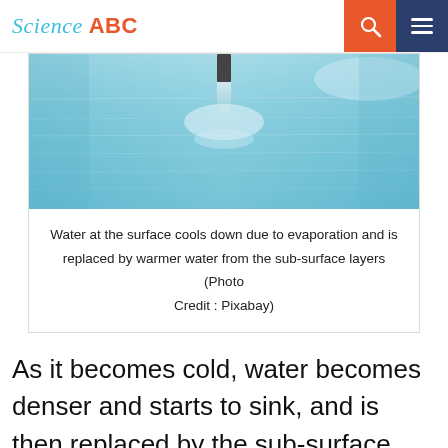Science ABC
[Figure (photo): Calm blue water with a reflection of a buoy or post — illustrating ocean surface and sub-surface water layers]
Water at the surface cools down due to evaporation and is replaced by warmer water from the sub-surface layers (Photo Credit : Pixabay)
As it becomes cold, water becomes denser and starts to sink, and is then replaced by the sub-surface layers of water. The thin, distinct layer of water where temperature changes rapidly is known as a thermocline.